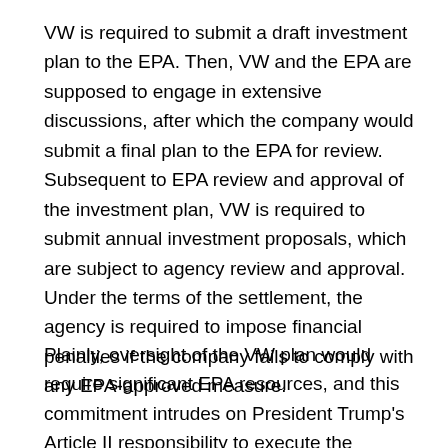VW is required to submit a draft investment plan to the EPA. Then, VW and the EPA are supposed to engage in extensive discussions, after which the company would submit a final plan to the EPA for review. Subsequent to EPA review and approval of the investment plan, VW is required to submit annual investment proposals, which are subject to agency review and approval. Under the terms of the settlement, the agency is required to impose financial penalties if the company fails to comply with any EPA-approved measure.
Plainly, oversight of the VW plan would require significant EPA resources, and this commitment intrudes on President Trump's Article II responsibility to execute the